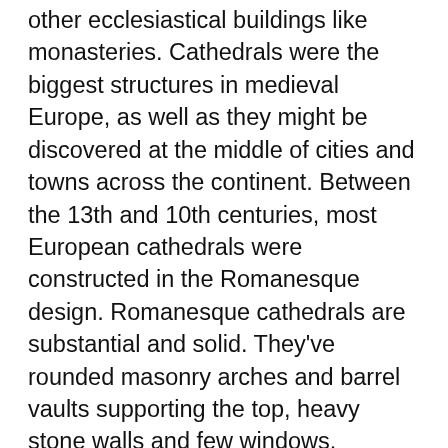other ecclesiastical buildings like monasteries. Cathedrals were the biggest structures in medieval Europe, as well as they might be discovered at the middle of cities and towns across the continent. Between the 13th and 10th centuries, most European cathedrals were constructed in the Romanesque design. Romanesque cathedrals are substantial and solid. They've rounded masonry arches and barrel vaults supporting the top, heavy stone walls and few windows. (Examples of Romanesque structure consist of the Porto Cathedral in Portugal and also the Speyer Cathedral in present day Germany.) Around 1200, church builders started to adopt a new architectural design, referred to as the Gothic. Gothic structures, like the Abbey Church of Saint Denis in France as well as the rebuilt Canterbury Cathedral in England, have large stained glass windows, pointed arches and vaults (a technology created in the Islamic world), and spires and flying buttresses. In